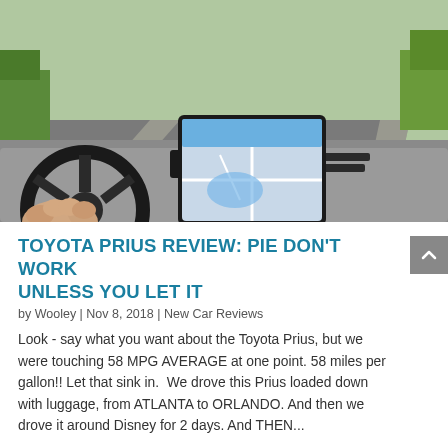[Figure (photo): Interior view of a Toyota Prius being driven on a highway. The driver's hand is visible on the steering wheel. The center console touchscreen displays a navigation map. The dashboard shows a speed of 31. The windshield shows a road with lane markings and green trees in the background.]
TOYOTA PRIUS REVIEW: PIE DON'T WORK UNLESS YOU LET IT
by Wooley | Nov 8, 2018 | New Car Reviews
Look - say what you want about the Toyota Prius, but we were touching 58 MPG AVERAGE at one point. 58 miles per gallon!! Let that sink in.  We drove this Prius loaded down with luggage, from ATLANTA to ORLANDO. And then we drove it around Disney for 2 days. And THEN...